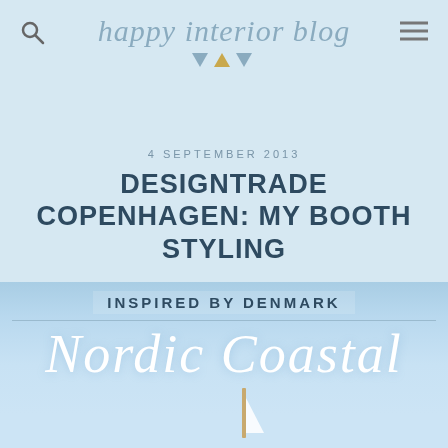happy interior blog
4 SEPTEMBER 2013
DESIGNTRADE COPENHAGEN: MY BOOTH STYLING
[Figure (photo): Nordic Coastal themed image with sky blue background, text 'INSPIRED BY DENMARK' and large cursive 'Nordic Coastal' text overlaid on a sky background with a sailboat mast visible at the bottom]